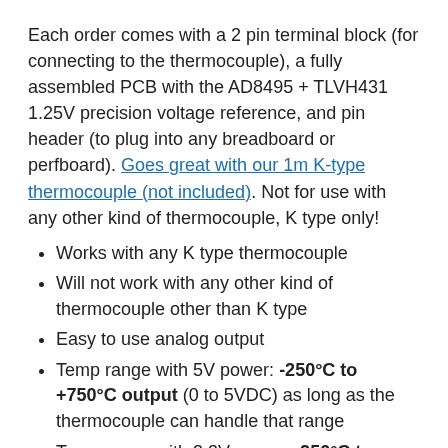Each order comes with a 2 pin terminal block (for connecting to the thermocouple), a fully assembled PCB with the AD8495 + TLVH431 1.25V precision voltage reference, and pin header (to plug into any breadboard or perfboard). Goes great with our 1m K-type thermocouple (not included). Not for use with any other kind of thermocouple, K type only!
Works with any K type thermocouple
Will not work with any other kind of thermocouple other than K type
Easy to use analog output
Temp range with 5V power: -250°C to +750°C output (0 to 5VDC) as long as the thermocouple can handle that range
Temp range with 3.3V power: -250°C to +410°C output (0 to 3.3VDC) as long as the